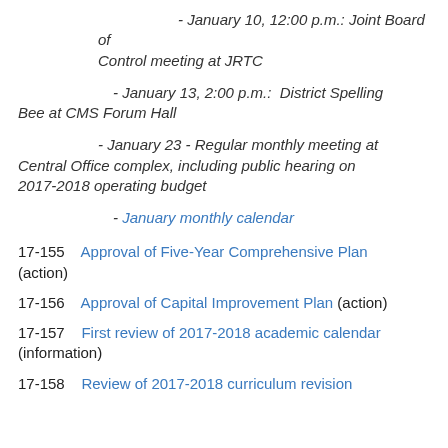- January 10, 12:00 p.m.: Joint Board of Control meeting at JRTC
- January 13, 2:00 p.m.:  District Spelling Bee at CMS Forum Hall
- January 23 - Regular monthly meeting at Central Office complex, including public hearing on 2017-2018 operating budget
- January monthly calendar
17-155   Approval of Five-Year Comprehensive Plan (action)
17-156   Approval of Capital Improvement Plan (action)
17-157   First review of 2017-2018 academic calendar (information)
17-158   Review of 2017-2018 curriculum revision